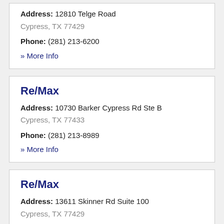Address: 12810 Telge Road
Cypress, TX 77429
Phone: (281) 213-6200
» More Info
Re/Max
Address: 10730 Barker Cypress Rd Ste B
Cypress, TX 77433
Phone: (281) 213-8989
» More Info
Re/Max
Address: 13611 Skinner Rd Suite 100
Cypress, TX 77429